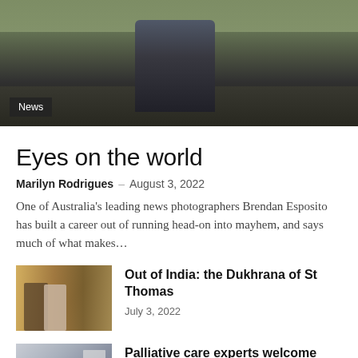[Figure (photo): Hero image showing a person from behind wearing a denim jacket, standing on a road. A 'News' badge is overlaid in the bottom-left corner.]
Eyes on the world
Marilyn Rodrigues – August 3, 2022
One of Australia's leading news photographers Brendan Esposito has built a career out of running head-on into mayhem, and says much of what makes…
[Figure (photo): Thumbnail of a wedding scene in India, with a couple and guests.]
Out of India: the Dukhrana of St Thomas
July 3, 2022
[Figure (photo): Thumbnail of a palliative care scene showing a patient and caregiver.]
Palliative care experts welcome NSW funding boost
June 10, 2022